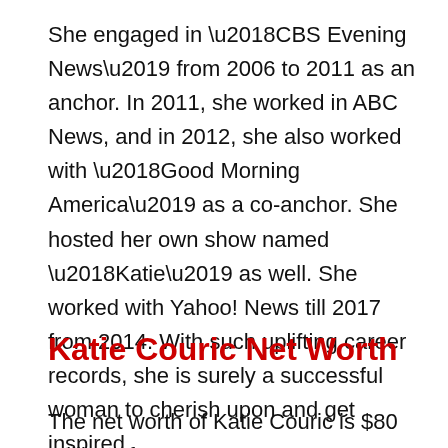She engaged in ‘CBS Evening News’ from 2006 to 2011 as an anchor. In 2011, she worked in ABC News, and in 2012, she also worked with ‘Good Morning America’ as a co-anchor. She hosted her own show named ‘Katie’ as well. She worked with Yahoo! News till 2017 from 2014. With such uplifting career records, she is surely a successful woman to cherish upon and get inspired.
Katie Couric Net Worth
The net worth of Katie Couric is $80 million of